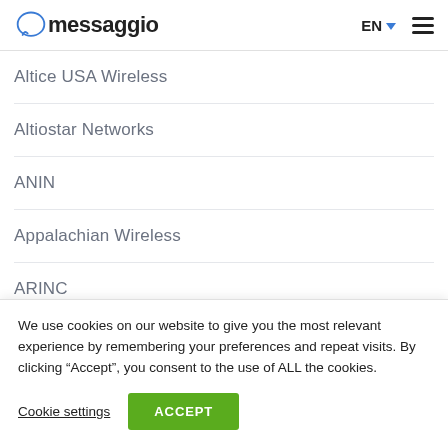messaggio | EN | menu
Altice USA Wireless
Altiostar Networks
ANIN
Appalachian Wireless
ARINC
(partially visible item)
We use cookies on our website to give you the most relevant experience by remembering your preferences and repeat visits. By clicking “Accept”, you consent to the use of ALL the cookies.
Cookie settings | ACCEPT